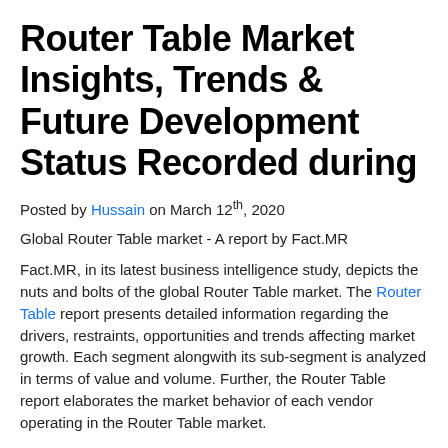Router Table Market Insights, Trends & Future Development Status Recorded during
Posted by Hussain on March 12th, 2020
Global Router Table market - A report by Fact.MR
Fact.MR, in its latest business intelligence study, depicts the nuts and bolts of the global Router Table market. The Router Table report presents detailed information regarding the drivers, restraints, opportunities and trends affecting market growth. Each segment alongwith its sub-segment is analyzed in terms of value and volume. Further, the Router Table report elaborates the market behavior of each vendor operating in the Router Table market.
The Router Table report considers the following years to present the overall market growth:
Forecast Year: 2018 – 2026